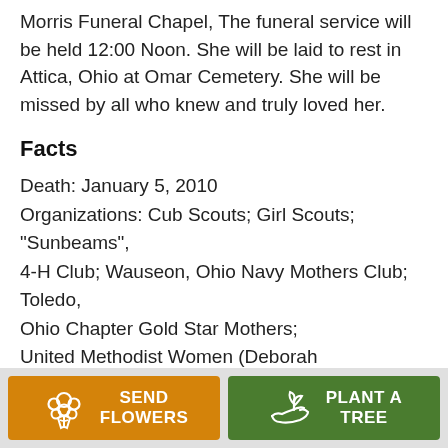Morris Funeral Chapel, The funeral service will be held 12:00 Noon. She will be laid to rest in Attica, Ohio at Omar Cemetery. She will be missed by all who knew and truly loved her.
Facts
Death: January 5, 2010
Organizations: Cub Scouts; Girl Scouts; "Sunbeams",
4-H Club; Wauseon, Ohio Navy Mothers Club; Toledo,
Ohio Chapter Gold Star Mothers; United Methodist Women (Deborah
SEND FLOWERS
PLANT A TREE